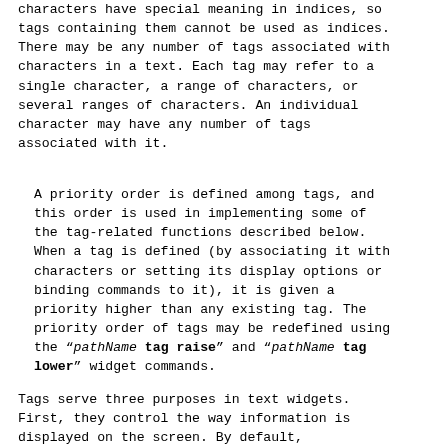characters have special meaning in indices, so tags containing them cannot be used as indices. There may be any number of tags associated with characters in a text. Each tag may refer to a single character, a range of characters, or several ranges of characters. An individual character may have any number of tags associated with it.
A priority order is defined among tags, and this order is used in implementing some of the tag-related functions described below. When a tag is defined (by associating it with characters or setting its display options or binding commands to it), it is given a priority higher than any existing tag. The priority order of tags may be redefined using the “pathName tag raise” and “pathName tag lower” widget commands.
Tags serve three purposes in text widgets. First, they control the way information is displayed on the screen. By default,